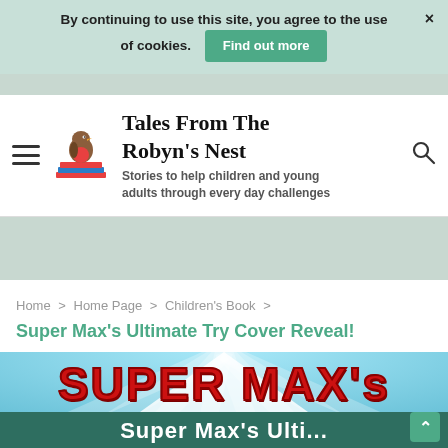By continuing to use this site, you agree to the use of cookies. Find out more ×
Tales From The Robyn's Nest
Stories to help children and young adults through every day challenges
Home > Home Page > Children's Book > Super Max's Ultimate Try Cover Reveal!
Super Max's Ultimate Try Cover Reveal!
[Figure (screenshot): Book cover image showing 'SUPER MAX's' text in large red letters against a blue sky with rays, white tent/triangle shape, tag pills for Children's Book and Parenting, and partial white title text at bottom on dark teal background]
Children's Book    Parenting